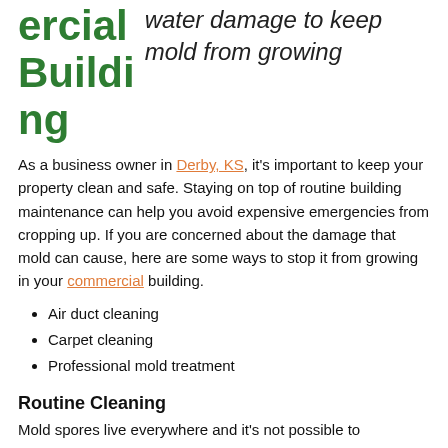ercial Building
water damage to keep mold from growing
As a business owner in Derby, KS, it's important to keep your property clean and safe. Staying on top of routine building maintenance can help you avoid expensive emergencies from cropping up. If you are concerned about the damage that mold can cause, here are some ways to stop it from growing in your commercial building.
Air duct cleaning
Carpet cleaning
Professional mold treatment
Routine Cleaning
Mold spores live everywhere and it's not possible to completely remove the spores from the air. It is, however, possible to maintain mold spore levels and prevent mold from becoming problematic. Controlling moisture levels indoors is crucial for stopping mold in its tracks since mold thrives in humid, damp environments. Some effective ways